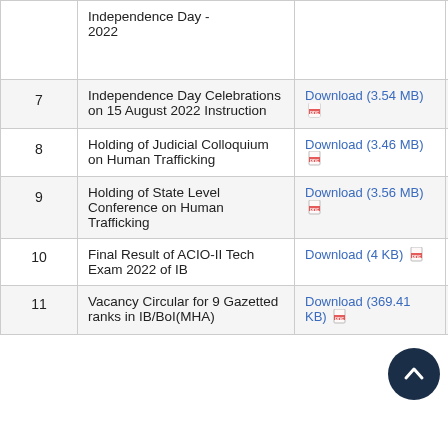| # | Title | Download | Date |
| --- | --- | --- | --- |
|  | Independence Day - 2022 |  |  |
| 7 | Independence Day Celebrations on 15 August 2022 Instruction | Download (3.54 MB) | 08-0 |
| 8 | Holding of Judicial Colloquium on Human Trafficking | Download (3.46 MB) | 04-0 |
| 9 | Holding of State Level Conference on Human Trafficking | Download (3.56 MB) | 04-0 |
| 10 | Final Result of ACIO-II Tech Exam 2022 of IB | Download (4 KB) |  |
| 11 | Vacancy Circular for 9 Gazetted ranks in IB/BoI(MHA) | Download (369.41 KB) | 27-0 |